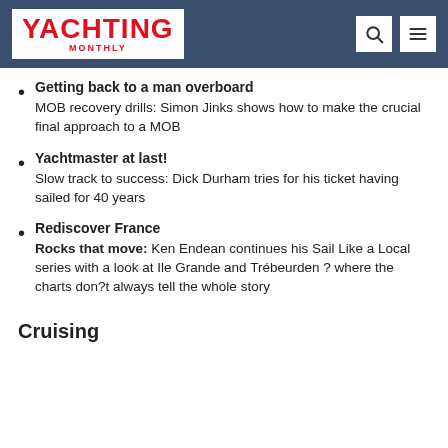YACHTING MONTHLY
Getting back to a man overboard
MOB recovery drills: Simon Jinks shows how to make the crucial final approach to a MOB
Yachtmaster at last!
Slow track to success: Dick Durham tries for his ticket having sailed for 40 years
Rediscover France
Rocks that move: Ken Endean continues his Sail Like a Local series with a look at Ile Grande and Trébeurden ? where the charts don?t always tell the whole story
Cruising